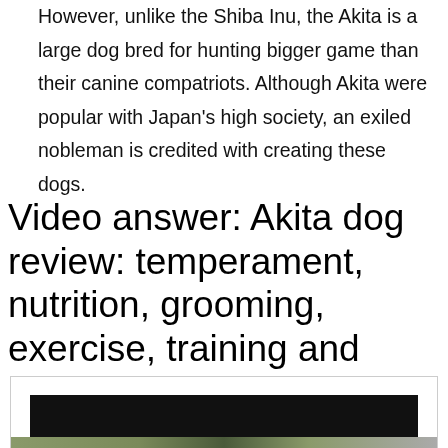However, unlike the Shiba Inu, the Akita is a large dog bred for hunting bigger game than their canine compatriots. Although Akita were popular with Japan's high society, an exiled nobleman is credited with creating these dogs.
Video answer: Akita dog review: temperament, nutrition, grooming, exercise, training and health issues
[Figure (screenshot): Video thumbnail for Akita dog review with a black video player area and a nature/dog image strip at the bottom]